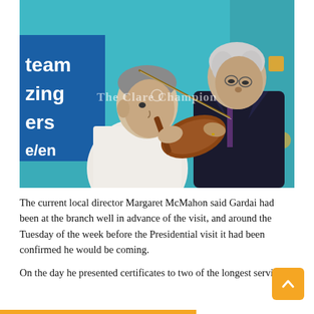[Figure (photo): Two men examining a violin together at an outdoor event. The man on the left wears a white patterned shirt and has grey hair. The man on the right is an older gentleman in a dark suit, bending forward to look at the violin. In the background is a teal/turquoise tent or banner. A sign on the left side reads partial text: 'team', 'zing', 'ers', 'e/en'. The Clare Champion watermark is visible across the centre of the image.]
The current local director Margaret McMahon said Gardai had been at the branch well in advance of the visit, and around the Tuesday of the week before the Presidential visit it had been confirmed he would be coming.
On the day he presented certificates to two of the longest serving